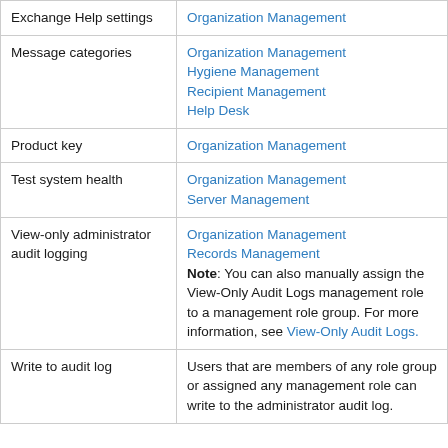| Feature | Required permissions |
| --- | --- |
| Exchange Help settings | Organization Management |
| Message categories | Organization Management
Hygiene Management
Recipient Management
Help Desk |
| Product key | Organization Management |
| Test system health | Organization Management
Server Management |
| View-only administrator audit logging | Organization Management
Records Management
Note: You can also manually assign the View-Only Audit Logs management role to a management role group. For more information, see View-Only Audit Logs. |
| Write to audit log | Users that are members of any role group or assigned any management role can write to the administrator audit log. |